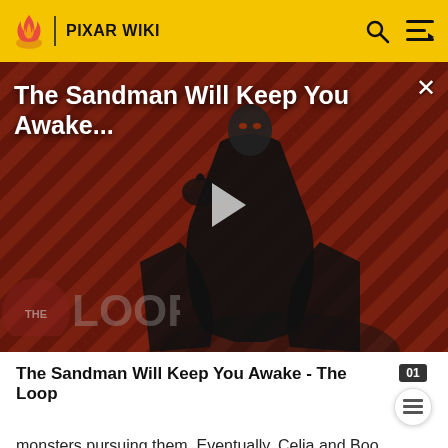PIXAR WIKI
[Figure (screenshot): Video thumbnail showing a figure in black cape against diagonal striped red/dark background with 'THE LOOP' watermark and play button overlay. Title overlay reads: The Sandman Will Keep You Awake...]
The Sandman Will Keep You Awake - The Loop
monsters pursuing them. Eventually, Celia and Boo manage to find another closet door back to Monstropolis, where they lead Sid, Randall, and Waternoose into